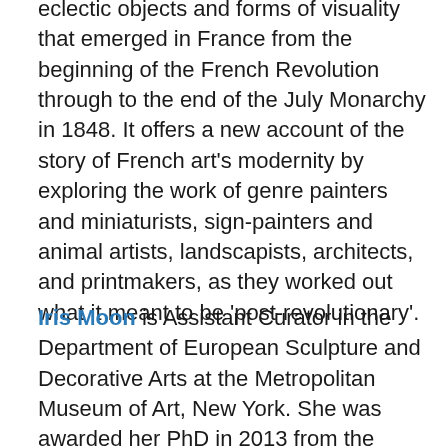eclectic objects and forms of visuality that emerged in France from the beginning of the French Revolution through to the end of the July Monarchy in 1848. It offers a new account of the story of French art's modernity by exploring the work of genre painters and miniaturists, sign-painters and animal artists, landscapists, architects, and printmakers, as they worked out what it meant to be 'post-revolutionary'.
Iris Moon is Assistant Curator in the Department of European Sculpture and Decorative Arts at the Metropolitan Museum of Art, New York. She was awarded her PhD in 2013 from the Massachusetts Institute of Technology, and was previously Pre-Doctoral Fellow at the Getty Research Institute, Mellon Postdoctoral Fellow and Assistant Director for Mellon Initiatives at the Sterling and Francine Clark Art Institute, Jane and Morgan Whitney